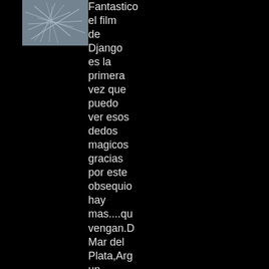[Figure (illustration): A small square image with light blue/gray abstract lines on a grayish background, resembling tangled or scribbled lines.]
Fantastico el film de Django es la primera vez que puedo ver esos dedos magicos gracias por este obsequio hay mas....que vengan.D Mar del Plata,Arg un saludo y prometo que le